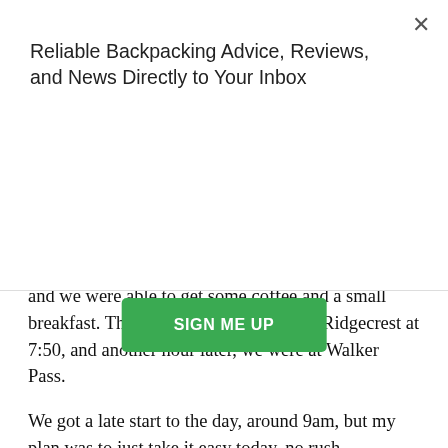Reliable Backpacking Advice, Reviews, and News Directly to Your Inbox
[Figure (other): Green 'SIGN ME UP' button for newsletter subscription]
and we were able to get some coffee and a small breakfast. The bus then picked us up in Ridgecrest at 7:50, and another hour later, we were at Walker Pass.
We got a late start to the day, around 9am, but my plan was to just take it easy today, no rush.
It felt so good to be back on trail, I'm just so happy to be here. This whole experience has really taught me to not take this for granted. I'm actually feeling like all of this probably happened for a reason, this whole experience has been very meaningful to me and I see